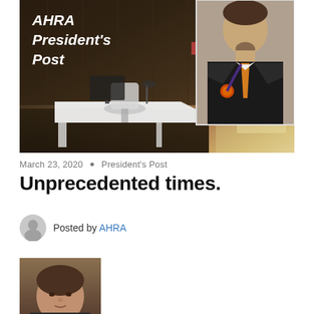[Figure (photo): AHRA President's Post banner image showing an office with a desk and chair, wood paneling, and a photo of a man in a black suit with orange tie and medal. Text overlay reads 'AHRA President's Post' in bold italic white.]
March 23, 2020 • President's Post
Unprecedented times.
Posted by AHRA
[Figure (photo): Portrait photo of a man (partial, cropped) with brown hair in a suit, brown/tan background.]